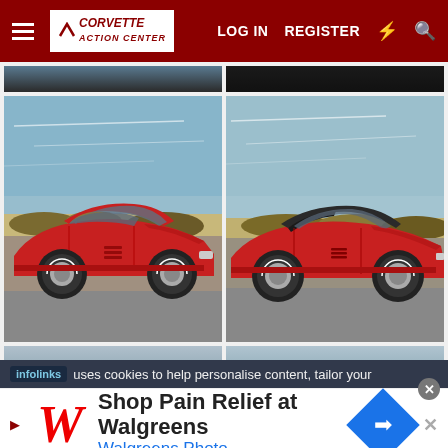Corvette Action Center — LOG IN  REGISTER
[Figure (photo): Top strip showing partial Corvette photos cropped at top]
[Figure (photo): Red 1970s Corvette coupe, left side view, parked near sandy dunes with blue sky]
[Figure (photo): Red 1970s Corvette convertible with dark top, right side view, parked near dunes with blue sky]
[Figure (photo): Bottom strip showing tops of two more Corvette photos partially visible]
infolinks  uses cookies to help personalise content, tailor your
Shop Pain Relief at Walgreens
Walgreens Photo